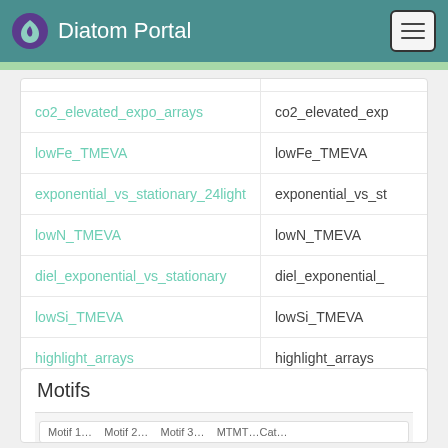Diatom Portal
|  |  |
| --- | --- |
| co2_elevated_expo_arrays | co2_elevated_exp |
| lowFe_TMEVA | lowFe_TMEVA |
| exponential_vs_stationary_24light | exponential_vs_st |
| lowN_TMEVA | lowN_TMEVA |
| diel_exponential_vs_stationary | diel_exponential_ |
| lowSi_TMEVA | lowSi_TMEVA |
| highlight_arrays | highlight_arrays |
Motifs